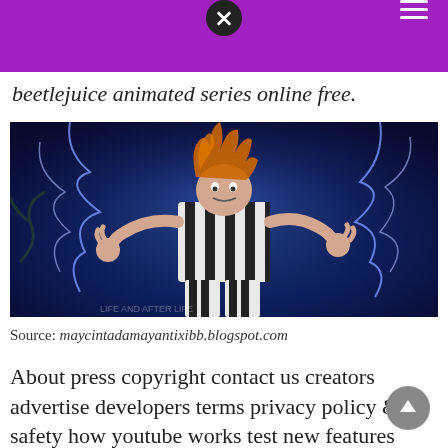[navigation bar with close and menu icons]
beetlejuice animated series online free.
[Figure (photo): Photo of Beetlejuice character in black-and-white striped suit with wild orange hair, surrounded by lightning effects on a dark blue background.]
Source: maycintadamayantixibb.blogspot.com
About press copyright contact us creators advertise developers terms privacy policy & safety how youtube works test new features press copyright conta[x] us creators. Watch